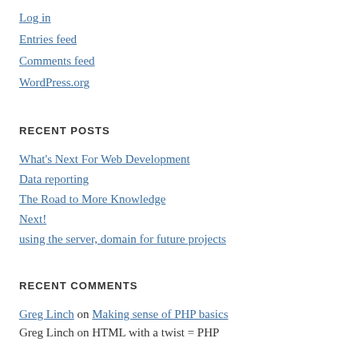Log in
Entries feed
Comments feed
WordPress.org
RECENT POSTS
What's Next For Web Development
Data reporting
The Road to More Knowledge
Next!
using the server, domain for future projects
RECENT COMMENTS
Greg Linch on Making sense of PHP basics
Greg Linch on HTML with a twist = PHP